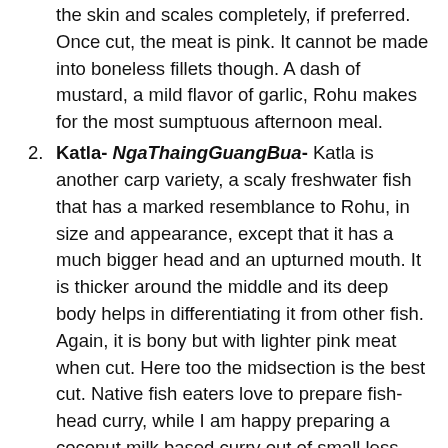the skin and scales completely, if preferred. Once cut, the meat is pink. It cannot be made into boneless fillets though. A dash of mustard, a mild flavor of garlic, Rohu makes for the most sumptuous afternoon meal.
Katla- NgaThaingGuangBua- Katla is another carp variety, a scaly freshwater fish that has a marked resemblance to Rohu, in size and appearance, except that it has a much bigger head and an upturned mouth. It is thicker around the middle and its deep body helps in differentiating it from other fish. Again, it is bony but with lighter pink meat when cut. Here too the midsection is the best cut. Native fish eaters love to prepare fish-head curry, while I am happy preparing a coconut milk based curry out of small less bony pieces, happily leaving the skin, scales, head and tail for the fish vendor!
Mrigal- NgaGyin- It took me a long time to find the English name for Nga Gyin, that everyone spoke about. It is actually ray-finned white carp. It is one of the most